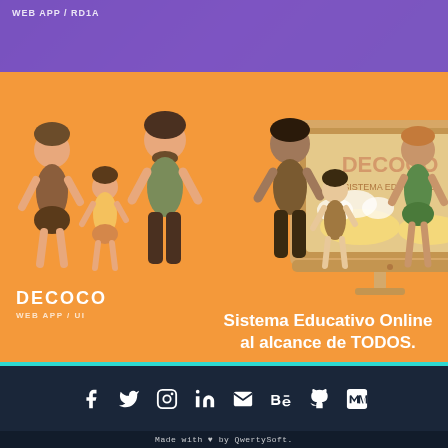WEB APP / RD1A
[Figure (illustration): Orange background with illustrated families on both sides and a desktop computer monitor in the center showing 'DECOCO - SISTEMA EDUCATIVO' on screen. Left side shows a family of 3 (woman, girl, bearded man), right side shows 4 people of various ages.]
DECOCO
WEB APP / UI
Sistema Educativo Online al alcance de TODOS.
[Figure (infographic): Social media icons row: Facebook (f), Twitter (bird), Instagram (camera circle), LinkedIn (in), Email (envelope), Behance (Be), GitHub (octocat), Medium (M)]
Made with ♥ by QwertySoft.